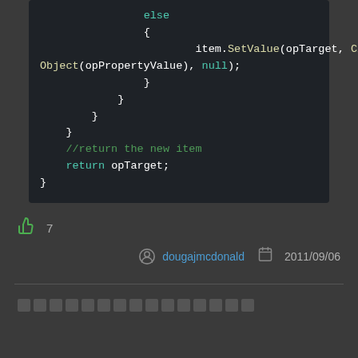[Figure (screenshot): Code snippet in dark theme showing else block with item.SetValue(opTarget, CloneObject(opPropertyValue), null); followed by closing braces, a comment //return the new item, and return opTarget;]
7 likes
dougajmcdonald  2011/09/06
▭▭▭▭▭▭▭▭▭▭▭▭▭▭▭